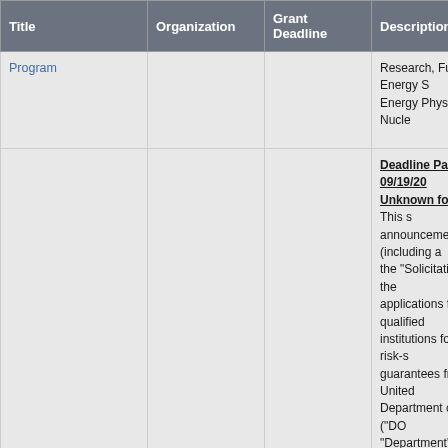| Title | Organization | Grant Deadline | Description |
| --- | --- | --- | --- |
| Program |  |  | Research, Fusion Energy S... Energy Physics, and Nucle... |
| Tribal Energy Loan Guarantee Program | DOE |  | Deadline Passed 09/19/20... Unknown for 2019. This s... announcement (including a... the "Solicitation") invites the... applications from qualified ... institutions for partial, risk-s... guarantees from the United... Department of Energy ("DO... "Department") under Sectio... Energy Policy Act of 1992, ... USC Section 3502(c)) (the ... of debt financing for tribal e... development projects, as d... Solicitation, that are locate... States. The Act authorizes ... loan guarantee program (th... Loan Guarantee Program"... intended to benefit federall... Indian tribes and Alaska Na... by increasing the capacit... |